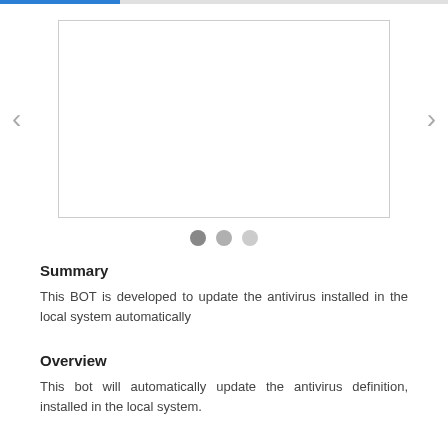[Figure (screenshot): Carousel image slideshow area with left and right navigation arrows and an empty white image box with border]
[Figure (other): Three pagination dots below carousel: one dark/active, two lighter]
Summary
This BOT is developed to update the antivirus installed in the local system automatically
Overview
This bot will automatically update the antivirus definition, installed in the local system.